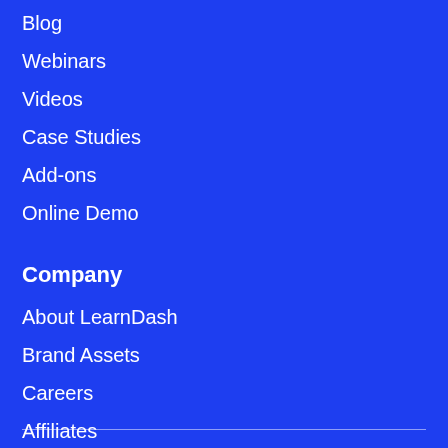Blog
Webinars
Videos
Case Studies
Add-ons
Online Demo
Company
About LearnDash
Brand Assets
Careers
Affiliates
Privacy Policy
Terms and Conditions